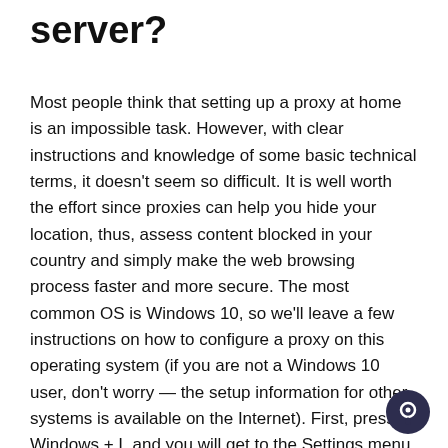server?
Most people think that setting up a proxy at home is an impossible task. However, with clear instructions and knowledge of some basic technical terms, it doesn't seem so difficult. It is well worth the effort since proxies can help you hide your location, thus, assess content blocked in your country and simply make the web browsing process faster and more secure. The most common OS is Windows 10, so we'll leave a few instructions on how to configure a proxy on this operating system (if you are not a Windows 10 user, don't worry — the setup information for other systems is available on the Internet). First, press Windows + I, and you will get to the Settings menu. Then, choose the Network and Internet section and find the Proxy button. You have two options: either use the script address for automatic configuration or input the proxy server details manually.
[Figure (illustration): Dark circular chat/support icon in the bottom right corner]